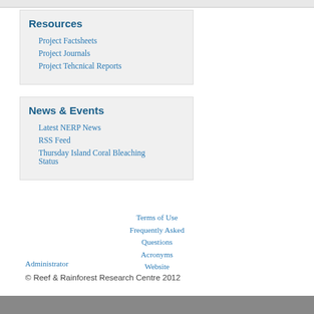Resources
Project Factsheets
Project Journals
Project Tehcnical Reports
News & Events
Latest NERP News
RSS Feed
Thursday Island Coral Bleaching Status
Terms of Use
Frequently Asked Questions
Acronyms
Website
Administrator
© Reef & Rainforest Research Centre 2012